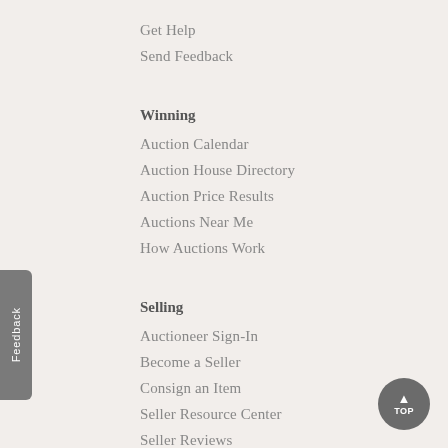Get Help
Send Feedback
Winning
Auction Calendar
Auction House Directory
Auction Price Results
Auctions Near Me
How Auctions Work
Selling
Auctioneer Sign-In
Become a Seller
Consign an Item
Seller Resource Center
Seller Reviews